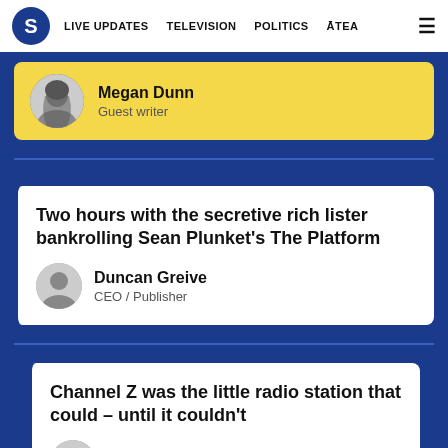S | LIVE UPDATES  TELEVISION  POLITICS  ĀTEA  ☰
Megan Dunn
Guest writer
Two hours with the secretive rich lister bankrolling Sean Plunket's The Platform
Duncan Greive
CEO / Publisher
Channel Z was the little radio station that could – until it couldn't
Chris Schulz
Senior writer